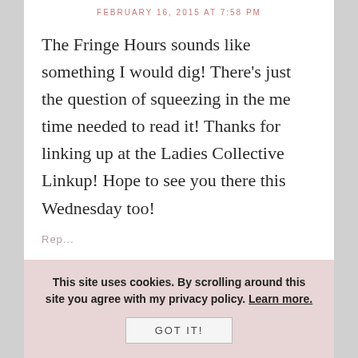FEBRUARY 16, 2015 AT 7:58 PM
The Fringe Hours sounds like something I would dig! There’s just the question of squeezing in the me time needed to read it! Thanks for linking up at the Ladies Collective Linkup! Hope to see you there this Wednesday too!
This site uses cookies. By scrolling around this site you agree with my privacy policy. Learn more. GOT IT!